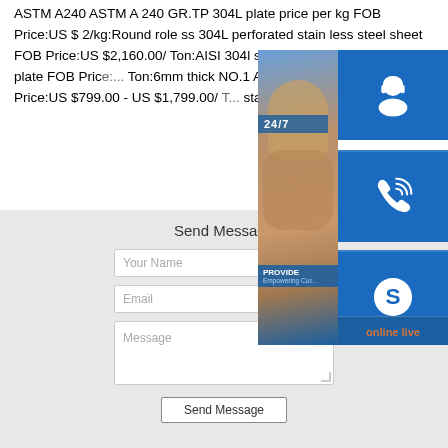ASTM A240 ASTM A 240 GR.TP 304L plate price per kg FOB Price:US $ 2/kg:Round role ss 304L perforated stainless steel sheet FOB Price:US $2,160.00/ Ton:AISI 304l stainless steel sheet and plate FOB Price:... Ton:6mm thick NO.1 AISI 321 304L stainless... FOB Price:US $799.00 - US $1,799.00/ Ton:... stainless steel ss sheet
[Figure (screenshot): Customer service widget panel on the right side showing 24/7 support, headset icon, phone icon, Skype icon, and 'online live' button. A woman with headset is shown in the background.]
Send Message
Your Name
Email
Message
Send Message